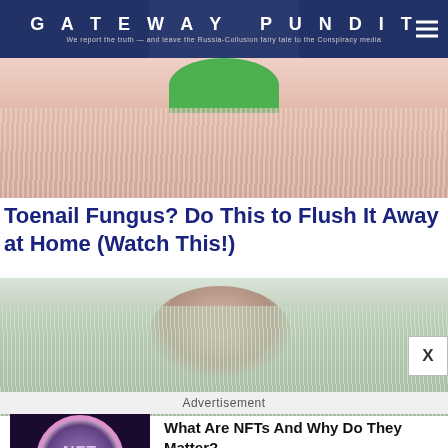GATEWAY PUNDIT — We report the truth — and leave the Russia-Collusion fairy tale to the Conspiracy media
[Figure (photo): Close-up photo of skin/toenail with pink/red furry texture and a green circular object at top]
Toenail Fungus? Do This to Flush It Away at Home (Watch This!)
[Figure (photo): Close-up photo of facial area with white/gray furry beard texture and skin]
Advertisement
[Figure (photo): NFT coin token image with purple/pink coloring labeled Non-fungible token]
What Are NFTs And Why Do They Matter?
Brainberries